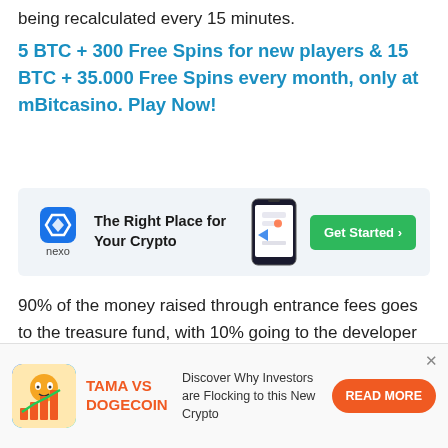being recalculated every 15 minutes.
5 BTC + 300 Free Spins for new players & 15 BTC + 35.000 Free Spins every month, only at mBitcasino. Play Now!
[Figure (infographic): Nexo advertisement banner: logo on left, tagline 'The Right Place for Your Crypto', phone image in center, green 'Get Started >' button on right]
90% of the money raised through entrance fees goes to the treasure fund, with 10% going to the developer to cover server costs.
Active players then search the vast Minecraft
[Figure (infographic): Bottom ad banner: Tama vs Dogecoin. Image of dog coin with bar chart. Text: 'Discover Why Investors are Flocking to this New Crypto'. Orange 'READ MORE' button.]